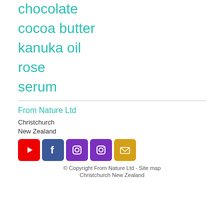chocolate
cocoa butter
kanuka oil
rose
serum
From Nature Ltd
Christchurch
New Zealand
[Figure (other): Social media icons: YouTube, Facebook, Instagram, Instagram, Email]
© Copyright From Nature Ltd - Site map
Christchurch New Zealand